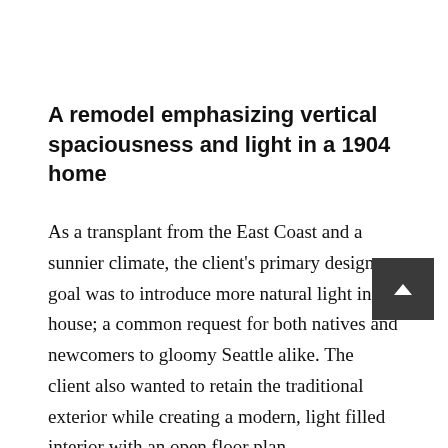A remodel emphasizing vertical spaciousness and light in a 1904 home
As a transplant from the East Coast and a sunnier climate, the client's primary design goal was to introduce more natural light in the house; a common request for both natives and newcomers to gloomy Seattle alike. The client also wanted to retain the traditional exterior while creating a modern, light filled interior with an open floor plan.